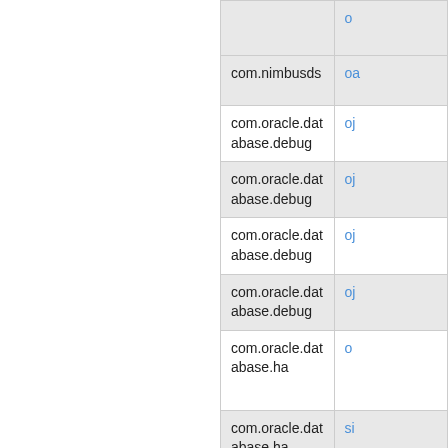| Package | Class |
| --- | --- |
|  | o... |
| com.nimbusds | oa... |
| com.oracle.database.debug | oj... |
| com.oracle.database.debug | oj... |
| com.oracle.database.debug | oj... |
| com.oracle.database.debug | oj... |
| com.oracle.database.ha | o... |
| com.oracle.database.ha | si... |
| com.oracle.database.jdbc | oj... |
| com.oracle.database.jdbc | oj... |
| com.oracle.database.jdbc | oj... |
| com.oracle.database.jdbc | oj... |